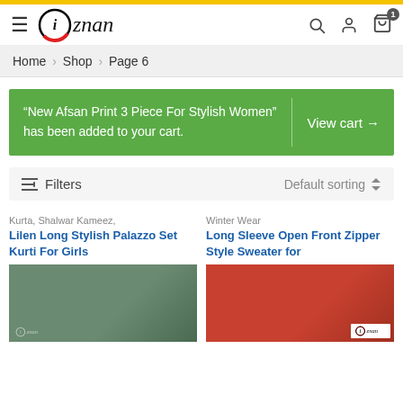iznan — navigation header with search, user, and cart icons
Home › Shop › Page 6
"New Afsan Print 3 Piece For Stylish Women" has been added to your cart. View cart →
Filters   Default sorting
Kurta, Shalwar Kameez,
Lilen Long Stylish Palazzo Set Kurti For Girls
Winter Wear
Long Sleeve Open Front Zipper Style Sweater for